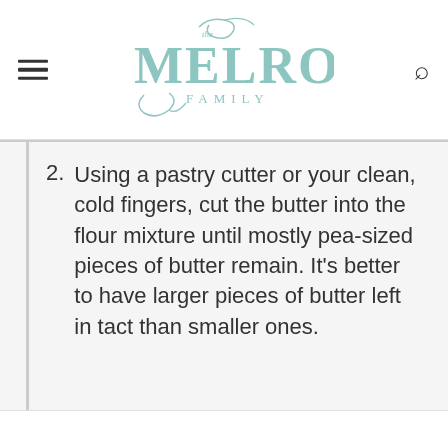The Melrose Family
2. Using a pastry cutter or your clean, cold fingers, cut the butter into the flour mixture until mostly pea-sized pieces of butter remain. It's better to have larger pieces of butter left in tact than smaller ones.